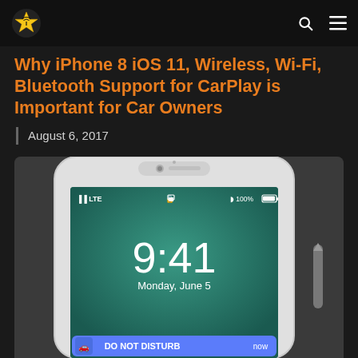Why iPhone 8 iOS 11, Wireless, Wi-Fi, Bluetooth Support for CarPlay is Important for Car Owners
August 6, 2017
[Figure (screenshot): iPhone lock screen showing time 9:41, date Monday June 5, LTE signal, 100% battery, and a DO NOT DISTURB notification at the bottom]